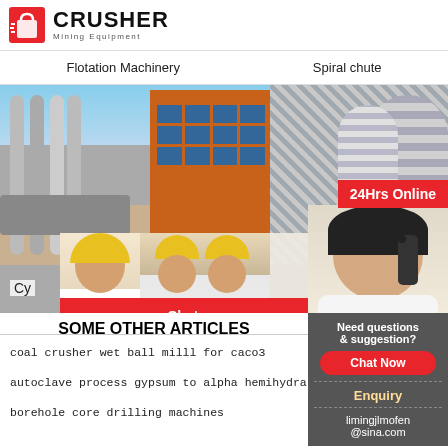[Figure (logo): Crusher Mining Equipment logo with red shopping bag icon and bold CRUSHER text]
Flotation Machinery
Spiral chute
[Figure (photo): Industrial factory building with pipes and workers in hard hats, live chat overlay with chat now and chat later buttons, 24Hrs Online badge, customer service representative with headset]
Cy
SOME OTHER ARTICLES
coal crusher wet ball milll for caco3
autoclave process gypsum to alpha hemihydra
borehole core drilling machines
Need questions & suggestion?
Chat Now
Enquiry
limingjlmofen@sina.com